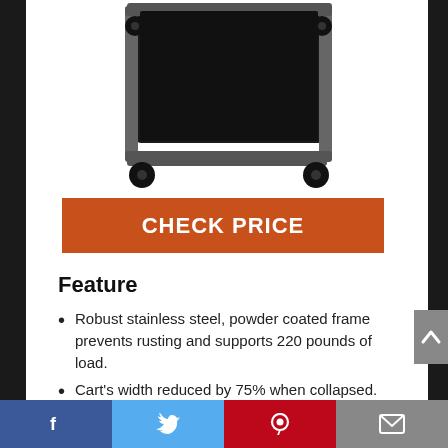[Figure (photo): Product photo of a stainless steel laundry/utility cart with black fabric bag and black caster wheels on a white background]
CHECK PRICE
Feature
Robust stainless steel, powder coated frame prevents rusting and supports 220 pounds of load.
Cart's width reduced by 75% when collapsed. Unit stays upright in
Facebook | Twitter | Pinterest | Email